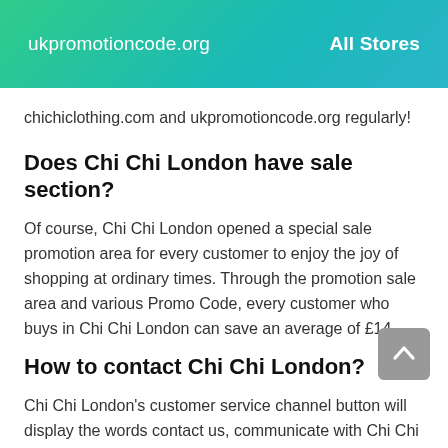ukpromotioncode.org   All Stores
chichiclothing.com and ukpromotioncode.org regularly!
Does Chi Chi London have sale section?
Of course, Chi Chi London opened a special sale promotion area for every customer to enjoy the joy of shopping at ordinary times. Through the promotion sale area and various Promo Code, every customer who buys in Chi Chi London can save an average of £14.
How to contact Chi Chi London?
Chi Chi London's customer service channel button will display the words contact us, communicate with Chi Chi London customer service online